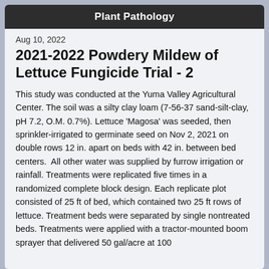Plant Pathology
Aug 10, 2022
2021-2022 Powdery Mildew of Lettuce Fungicide Trial - 2
This study was conducted at the Yuma Valley Agricultural Center. The soil was a silty clay loam (7-56-37 sand-silt-clay, pH 7.2, O.M. 0.7%). Lettuce 'Magosa' was seeded, then sprinkler-irrigated to germinate seed on Nov 2, 2021 on double rows 12 in. apart on beds with 42 in. between bed centers.  All other water was supplied by furrow irrigation or rainfall. Treatments were replicated five times in a randomized complete block design. Each replicate plot consisted of 25 ft of bed, which contained two 25 ft rows of lettuce. Treatment beds were separated by single nontreated beds. Treatments were applied with a tractor-mounted boom sprayer that delivered 50 gal/acre at 100